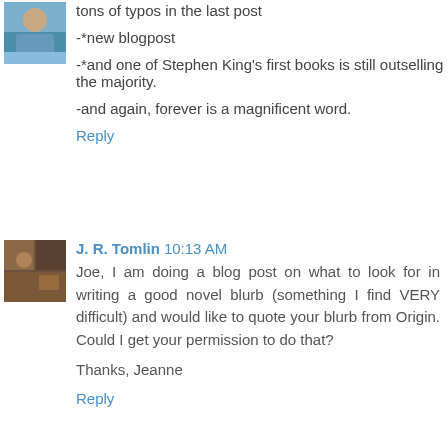[Figure (photo): Small avatar photo of a person at a beach or outdoor setting]
tons of typos in the last post

-*new blogpost

-*and one of Stephen King's first books is still outselling the majority.

-and again, forever is a magnificent word.
Reply
[Figure (photo): Small avatar photo with warm earth tones, nature or landscape image]
J. R. Tomlin  10:13 AM
Joe, I am doing a blog post on what to look for in writing a good novel blurb (something I find VERY difficult) and would like to quote your blurb from Origin. Could I get your permission to do that?

Thanks, Jeanne
Reply